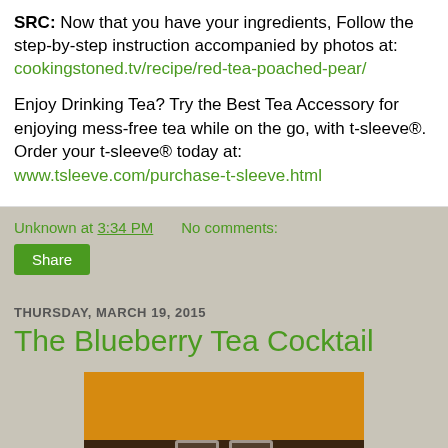SRC: Now that you have your ingredients, Follow the step-by-step instruction accompanied by photos at: cookingstoned.tv/recipe/red-tea-poached-pear/
Enjoy Drinking Tea? Try the Best Tea Accessory for enjoying mess-free tea while on the go, with t-sleeve®. Order your t-sleeve® today at: www.tsleeve.com/purchase-t-sleeve.html
Unknown at 3:34 PM    No comments:
Share
THURSDAY, MARCH 19, 2015
The Blueberry Tea Cocktail
[Figure (photo): Photo of tea cocktail drinks in glasses, with orange/amber upper background and dark brown lower area showing glass drinkware]